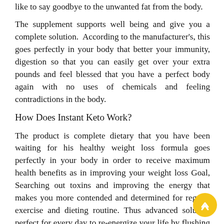like to say goodbye to the unwanted fat from the body.
The supplement supports well being and give you a complete solution. According to the manufacturer's, this goes perfectly in your body that better your immunity, digestion so that you can easily get over your extra pounds and feel blessed that you have a perfect body again with no uses of chemicals and feeling contradictions in the body.
How Does Instant Keto Work?
The product is complete dietary that you have been waiting for his healthy weight loss formula goes perfectly in your body in order to receive maximum health benefits as in improving your weight loss Goal, Searching out toxins and improving the energy that makes you more contended and determined for regular exercise and dieting routine. Thus advanced solution perfect for every day to re-energize your life by flushing out enzymes which are responsible for